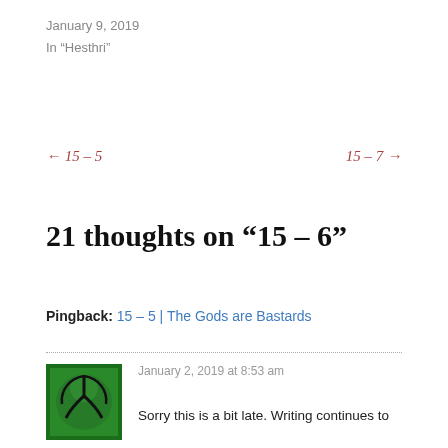January 9, 2019
In "Hesthri"
← 15 – 5
15 – 7 →
21 thoughts on “15 – 6”
Pingback: 15 – 5 | The Gods are Bastards
January 2, 2019 at 8:53 am
Sorry this is a bit late. Writing continues to